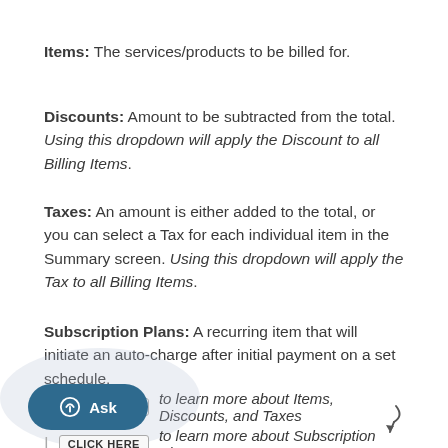Items: The services/products to be billed for.
Discounts: Amount to be subtracted from the total. Using this dropdown will apply the Discount to all Billing Items.
Taxes: An amount is either added to the total, or you can select a Tax for each individual item in the Summary screen. Using this dropdown will apply the Tax to all Billing Items.
Subscription Plans: A recurring item that will initiate an auto-charge after initial payment on a set schedule.
CLICK HERE  to learn more about Items, Discounts, and Taxes
CLICK HERE  to learn more about Subscription Plans
A Summary module will update in real-time as you make your [selections]. You can make manual adjustments here.